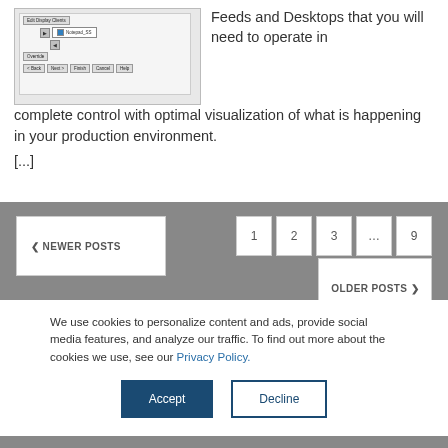[Figure (screenshot): Screenshot of a Windows dialog box showing display clients configuration with buttons like Edit Display Clients, Override, Back, Next, Finish, Cancel, Help and arrow controls with Notepad_SS listed]
Feeds and Desktops that you will need to operate in complete control with optimal visualization of what is happening in your production environment.
[...]
« NEWER POSTS
1
2
3
...
9
OLDER POSTS »
We use cookies to personalize content and ads, provide social media features, and analyze our traffic. To find out more about the cookies we use, see our Privacy Policy.
Accept
Decline